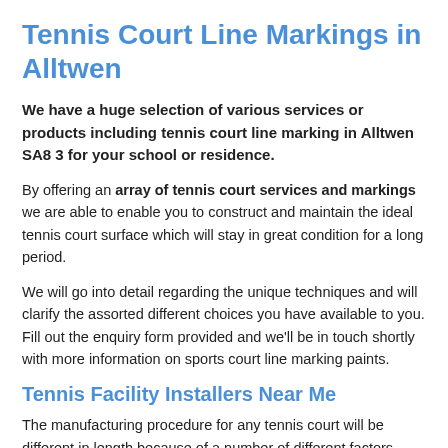Tennis Court Line Markings in Alltwen
We have a huge selection of various services or products including tennis court line marking in Alltwen SA8 3 for your school or residence.
By offering an array of tennis court services and markings we are able to enable you to construct and maintain the ideal tennis court surface which will stay in great condition for a long period.
We will go into detail regarding the unique techniques and will clarify the assorted different choices you have available to you. Fill out the enquiry form provided and we'll be in touch shortly with more information on sports court line marking paints.
Tennis Facility Installers Near Me
The manufacturing procedure for any tennis court will be different in length because of a number of different factors.
There are a number of variables and extra features which can be